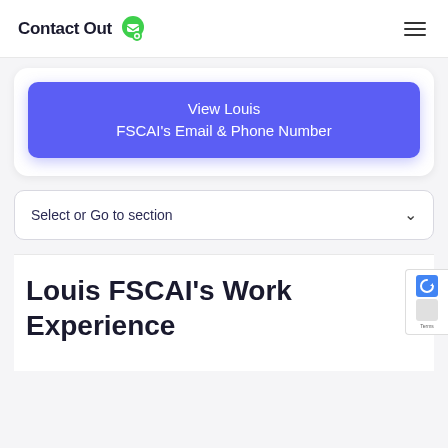Contact Out
View Louis FSCAI's Email & Phone Number
Select or Go to section
Louis FSCAI's Work Experience